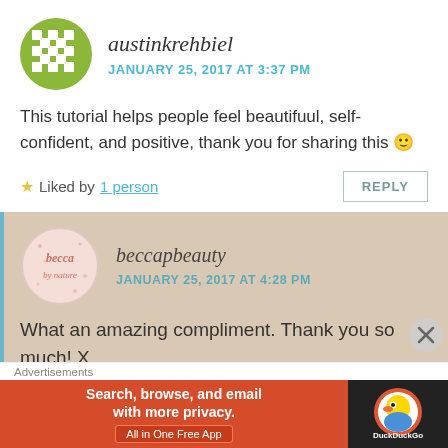[Figure (illustration): Green pixel/grid avatar icon for user austinkrehbiel]
austinkrehbiel
JANUARY 25, 2017 AT 3:37 PM
This tutorial helps people feel beautifuul, self-confident, and positive, thank you for sharing this 🙂
★ Liked by 1 person
REPLY
[Figure (logo): beccapbeauty circular logo with pink text on light background]
beccapbeauty
JANUARY 25, 2017 AT 4:28 PM
What an amazing compliment. Thank you so much! X
Advertisements
[Figure (screenshot): DuckDuckGo advertisement banner: Search, browse, and email with more privacy. All in One Free App.]